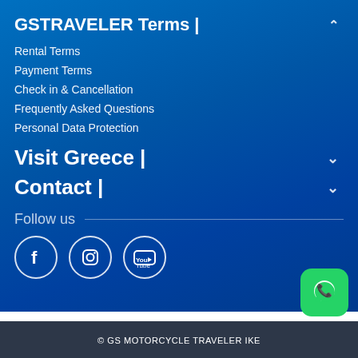GSTRAVELER Terms |
Rental Terms
Payment Terms
Check in & Cancellation
Frequently Asked Questions
Personal Data Protection
Visit Greece |
Contact |
Follow us
[Figure (logo): Facebook, Instagram, and YouTube social media icons in white circles]
© GS MOTORCYCLE TRAVELER IKE